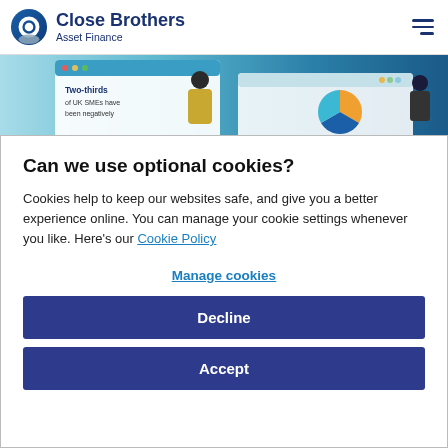[Figure (logo): Close Brothers Asset Finance logo with circular blue/grey icon and dark blue text]
[Figure (screenshot): Partial hero banner showing 'Two-thirds of UK SMEs have been negatively...' text with illustration of people and pie chart on blue background]
Can we use optional cookies?
Cookies help to keep our websites safe, and give you a better experience online. You can manage your cookie settings whenever you like. Here's our Cookie Policy
Manage cookies
Decline
Accept